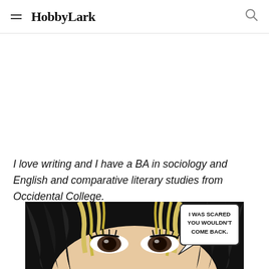HobbyLark
I love writing and I have a BA in sociology and English and comparative literary studies from Occidental College.
[Figure (illustration): A comic book panel showing a close-up of a woman's eyes with dramatic hair, and a speech bubble reading 'I WAS SCARED YOU WOULDN'T COME BACK.']